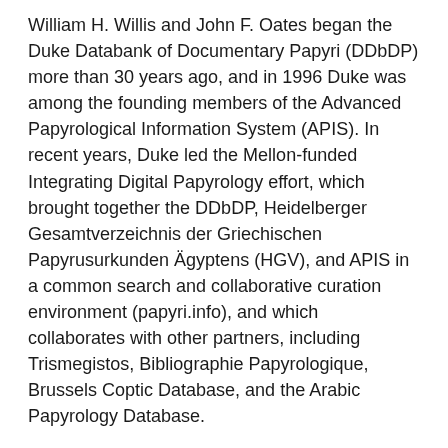William H. Willis and John F. Oates began the Duke Databank of Documentary Papyri (DDbDP) more than 30 years ago, and in 1996 Duke was among the founding members of the Advanced Papyrological Information System (APIS). In recent years, Duke led the Mellon-funded Integrating Digital Papyrology effort, which brought together the DDbDP, Heidelberger Gesamtverzeichnis der Griechischen Papyrusurkunden Ägyptens (HGV), and APIS in a common search and collaborative curation environment (papyri.info), and which collaborates with other partners, including Trismegistos, Bibliographie Papyrologique, Brussels Coptic Database, and the Arabic Papyrology Database.
The DC3 team will see to the maintenance and enhancement of papyri.info data and tooling, cultivate new partnerships in the papyrological domain, experiment in the development of new